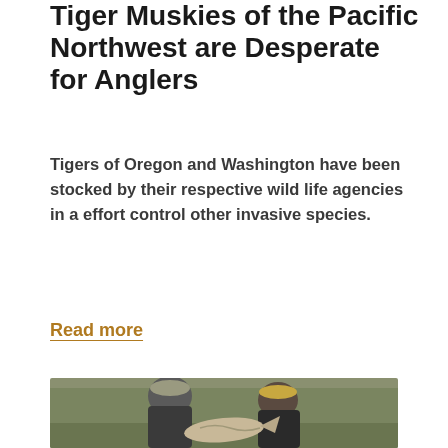Tiger Muskies of the Pacific Northwest are Desperate for Anglers
Tigers of Oregon and Washington have been stocked by their respective wild life agencies in a effort control other invasive species.
Read more
[Figure (photo): Two anglers wearing baseball caps and sunglasses holding a large fish (muskie) outdoors near a river or lake with bare trees in the background.]